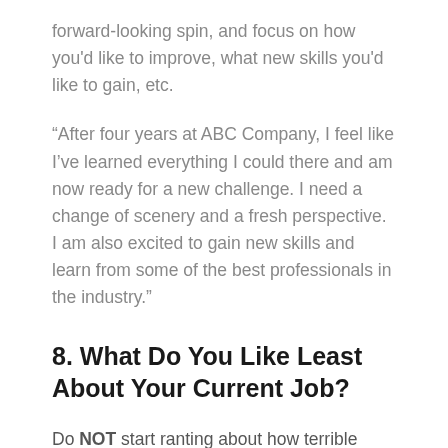forward-looking spin, and focus on how you'd like to improve, what new skills you'd like to gain, etc.
“After four years at ABC Company, I feel like I’ve learned everything I could there and am now ready for a new challenge. I need a change of scenery and a fresh perspective. I am also excited to gain new skills and learn from some of the best professionals in the industry.”
8. What Do You Like Least About Your Current Job?
Do NOT start ranting about how terrible your